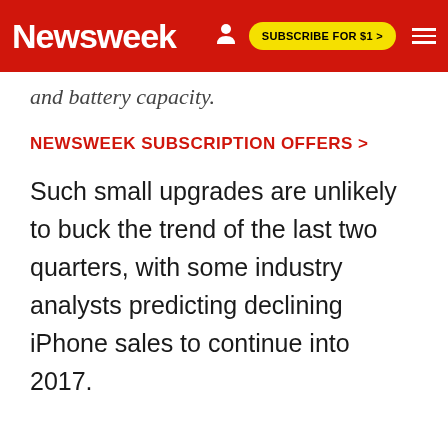Newsweek | SUBSCRIBE FOR $1 >
and battery capacity.
NEWSWEEK SUBSCRIPTION OFFERS >
Such small upgrades are unlikely to buck the trend of the last two quarters, with some industry analysts predicting declining iPhone sales to continue into 2017.